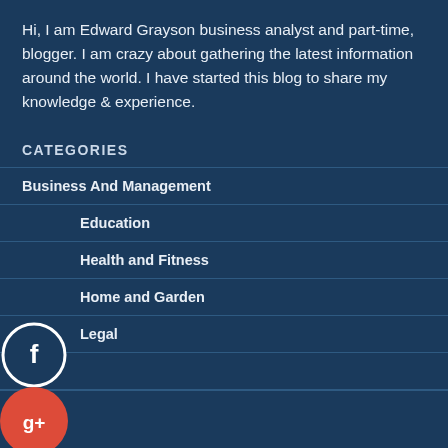Hi, I am Edward Grayson business analyst and part-time, blogger. I am crazy about gathering the latest information around the world. I have started this blog to share my knowledge & experience.
CATEGORIES
Business And Management
Education
Health and Fitness
Home and Garden
Legal
Main